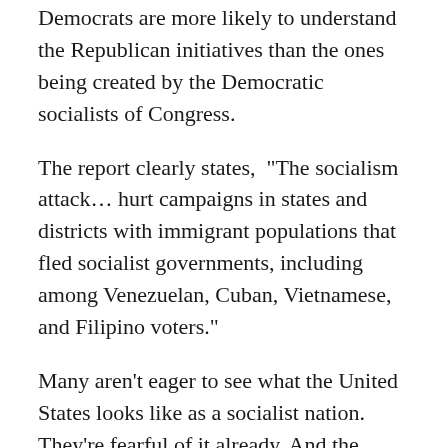Democrats are more likely to understand the Republican initiatives than the ones being created by the Democratic socialists of Congress.
The report clearly states, “The socialism attack… hurt campaigns in states and districts with immigrant populations that fled socialist governments, including among Venezuelan, Cuban, Vietnamese, and Filipino voters.”
Many aren’t eager to see what the United States looks like as a socialist nation. They’re fearful of it already. And the Republican messaging has ensured that people see what the Democratic Party is doing.
A number of initiatives have been tied to socialism, including the Green New Deal and Medicare for All. Furthermore, like AOC and “The Squad” are dominating